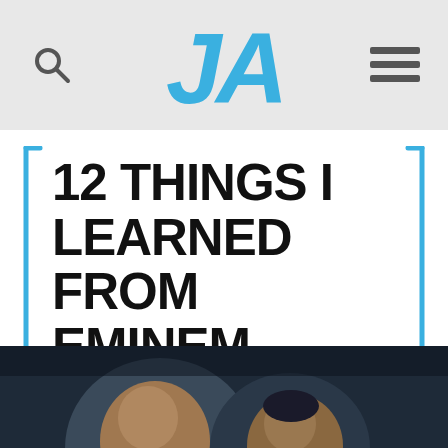JA (logo with search and hamburger menu icons)
12 THINGS I LEARNED FROM EMINEM ABOUT PERSUASION
[Figure (photo): Close-up photo of two people's heads/faces against a dark background, partially visible at the bottom of the page]